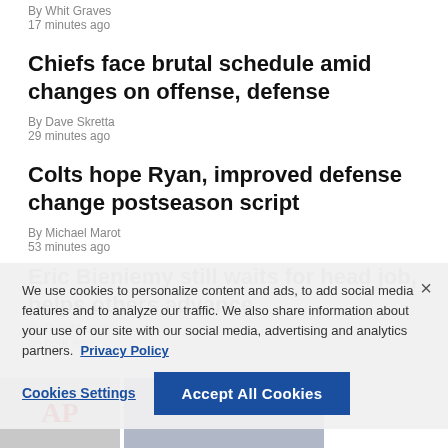By Whit Graves
17 minutes ago
Chiefs face brutal schedule amid changes on offense, defense
By Dave Skretta
29 minutes ago
Colts hope Ryan, improved defense change postseason script
By Michael Marot
53 minutes ago
Eric Bieniemy still waits for head job, helps others advance
By Rob Maaddi
an hour ago
We use cookies to personalize content and ads, to add social media features and to analyze our traffic. We also share information about your use of our site with our social media, advertising and analytics partners. Privacy Policy
Cookies Settings
Accept All Cookies